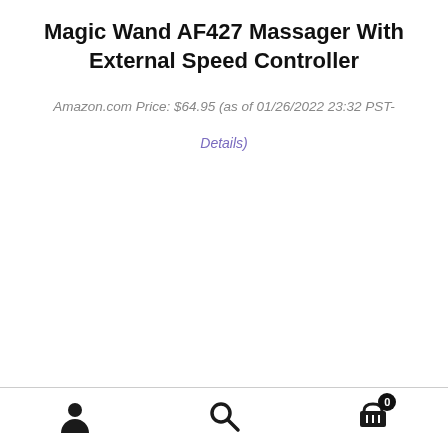Magic Wand AF427 Massager With External Speed Controller
Amazon.com Price: $64.95 (as of 01/26/2022 23:32 PST-
Details)
[Figure (other): Bottom navigation bar with user/account icon, search icon, and shopping cart icon with badge showing 0]